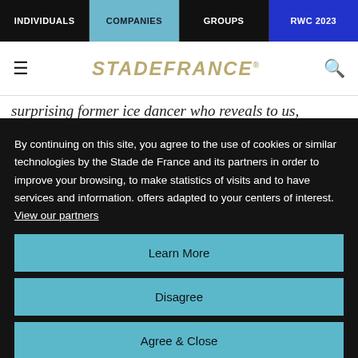INDIVIDUALS | COMPANIES | GROUPS | RWC 2023
[Figure (logo): Stade de France logo with hamburger menu and search icon]
surprising former ice dancer who reveals to us,
By continuing on this site, you agree to the use of cookies or similar technologies by the Stade de France and its partners in order to improve your browsing, to make statistics of visits and to have services and information. offers adapted to your centers of interest. View our partners
Learn More
Disagree
Agree & Close